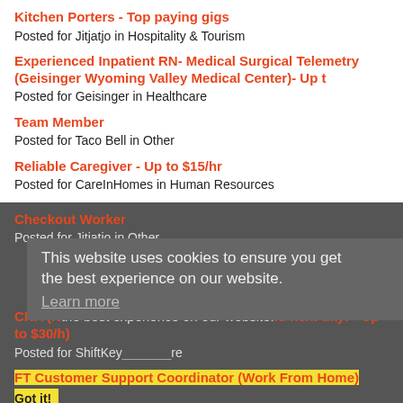Kitchen Porters - Top paying gigs
Posted for Jitjatjo in Hospitality & Tourism
Experienced Inpatient RN- Medical Surgical Telemetry (Geisinger Wyoming Valley Medical Center)- Up t
Posted for Geisinger in Healthcare
Team Member
Posted for Taco Bell in Other
Reliable Caregiver - Up to $15/hr
Posted for CareInHomes in Human Resources
Checkout Worker
Posted for Jitjatjo in Other
This website uses cookies to ensure you get the best experience on our website.
Learn more
CNA (N... id next day! - Up to $30/h)
Posted for ShiftKey in re
FT Customer Support Coordinator (Work From Home)
Posted for Foodsmart in Other
Got it!
Part Time Caregiver - Up to $15/hr
Posted for CareInHomes in Other